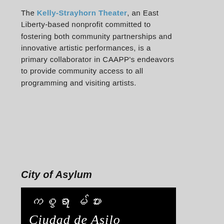The Kelly-Strayhorn Theater, an East Liberty-based nonprofit committed to fostering both community partnerships and innovative artistic performances, is a primary collaborator in CAAPP's endeavors to provide community access to all programming and visiting artists.
City of Asylum
[Figure (logo): City of Asylum logo on black background with text in multiple scripts: Burmese/Sinhala script, 'Ciudad de Asilo' in handwritten style, 'CITY of ASYLUM' in bold red italic, and additional script text at bottom.]